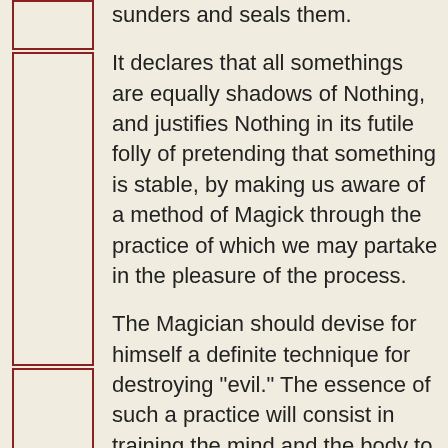sunders and seals them.
It declares that all somethings are equally shadows of Nothing, and justifies Nothing in its futile folly of pretending that something is stable, by making us aware of a method of Magick through the practice of which we may partake in the pleasure of the process.
The Magician should devise for himself a definite technique for destroying "evil." The essence of such a practice will consist in training the mind and the body to confront things which case fear, pain, disgust,[29] shame and the like. He must learn to endure them, then to become indifferent to them, then to become indifferent to them, then to analyze them until they give pleasure and instruction, and finally to appreciate them for their own sake, as aspects of Truth. When this has been done, he should abandon them, if they are really harmful in relation to health and comfort. Also, our